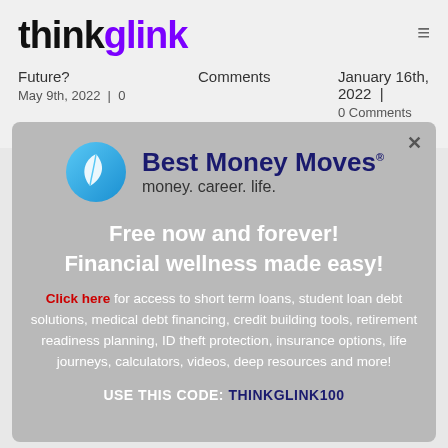thinkglink
Future?   Comments   January 16th, 2022 | 0 Comments
May 9th, 2022 | 0
[Figure (logo): Best Money Moves logo with blue circular leaf icon, company name in dark navy bold text, tagline 'money. career. life.']
Free now and forever!
Financial wellness made easy!
Click here for access to short term loans, student loan debt solutions, medical debt financing, credit building tools, retirement readiness planning, ID theft protection, insurance options, life journeys, calculators, videos, deep resources and more!
USE THIS CODE: THINKGLINK100